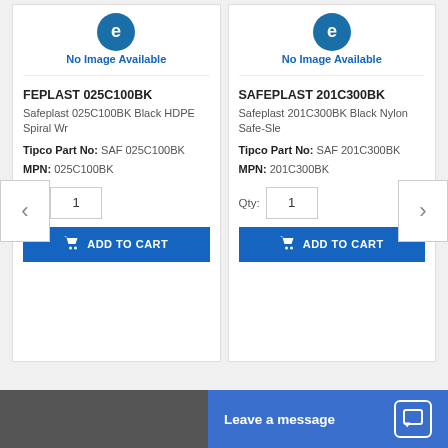[Figure (screenshot): Product listing card for SAFEPLAST 025C100BK with No Image Available placeholder, product details, quantity input, and Add to Cart button]
FEPLAST 025C100BK
Safeplast 025C100BK Black HDPE Spiral Wr
Tipco Part No: SAF 025C100BK
MPN: 025C100BK
Qty: 1
ADD TO CART
[Figure (screenshot): Product listing card for SAFEPLAST 201C300BK with No Image Available placeholder, product details, quantity input, and Add to Cart button]
SAFEPLAST 201C300BK
Safeplast 201C300BK Black Nylon Safe-Sle
Tipco Part No: SAF 201C300BK
MPN: 201C300BK
Qty: 1
ADD TO CART
Leave a message